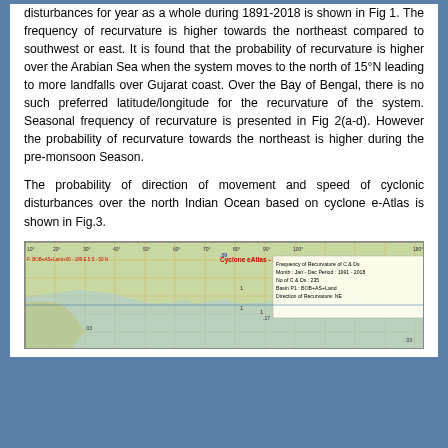disturbances for year as a whole during 1891-2018 is shown in Fig 1. The frequency of recurvature is higher towards the northeast compared to southwest or east. It is found that the probability of recurvature is higher over the Arabian Sea when the system moves to the north of 15°N leading to more landfalls over Gujarat coast. Over the Bay of Bengal, there is no such preferred latitude/longitude for the recurvature of the system. Seasonal frequency of recurvature is presented in Fig 2(a-d). However the probability of recurvature towards the northeast is higher during the pre-monsoon Season.
The probability of direction of movement and speed of cyclonic disturbances over the north Indian Ocean based on cyclone e-Atlas is shown in Fig.3.
[Figure (map): Frequency of Recurvature map from Cyclone eAtlas - IMD, showing recurvature of C & Ds, Month: Jan-Dec, Period: 1991-2018, No of C&Ds: 235, Basin: BOB+AS+Land, Direction of Recurvature: NE. Map spans longitudes roughly 40°E to 100°E across the north Indian Ocean.]